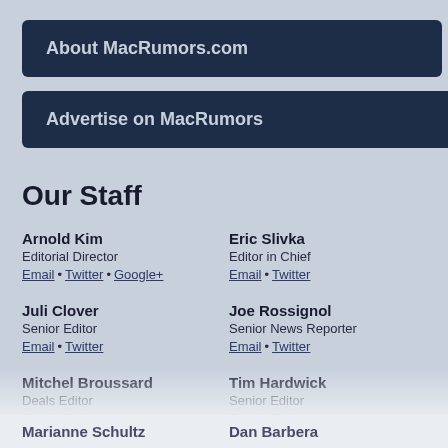About MacRumors.com
Advertise on MacRumors
Our Staff
Arnold Kim
Editorial Director
Email • Twitter • Google+
Eric Slivka
Editor in Chief
Email • Twitter
Juli Clover
Senior Editor
Email • Twitter
Joe Rossignol
Senior News Reporter
Email • Twitter
Mitchel Broussard
Deals Editor
Email • Twitter
Tim Hardwick
Senior Editor
Email • Twitter
Hartley Charlton
Editor
Email • Twitter
Sami Fathi
Editor
Email • Twitter
Marianne Schultz
Dan Barbera